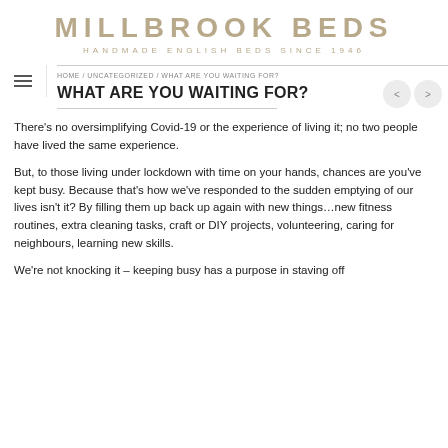MILLBROOK BEDS
HANDMADE ENGLISH BEDS SINCE 1946
HOME / UNCATEGORIZED / WHAT ARE YOU WAITING FOR?
WHAT ARE YOU WAITING FOR?
There's no oversimplifying Covid-19 or the experience of living it; no two people have lived the same experience.
But, to those living under lockdown with time on your hands, chances are you've kept busy. Because that's how we've responded to the sudden emptying of our lives isn't it? By filling them up back up again with new things…new fitness routines, extra cleaning tasks, craft or DIY projects, volunteering, caring for neighbours, learning new skills.
We're not knocking it – keeping busy has a purpose in staving off